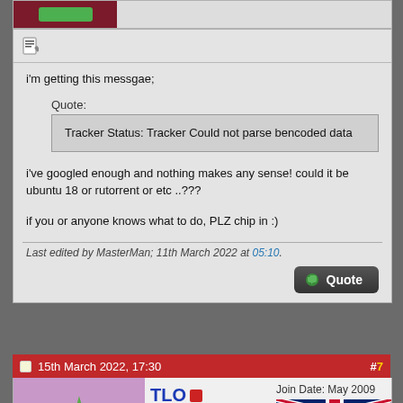[Figure (screenshot): Top partial of a previous forum post showing a dark red avatar area with a green button]
[Figure (illustration): Post/edit icon (notepad with pencil)]
i'm getting this messgae;
Quote:
Tracker Status: Tracker Could not parse bencoded data
i've googled enough and nothing makes any sense! could it be ubuntu 18 or rutorrent or etc ..???
if you or anyone knows what to do, PLZ chip in :)
Last edited by MasterMan; 11th March 2022 at 05:10.
[Figure (screenshot): Quote button - dark rounded rectangle with phone/quote icon and 'Quote' text]
15th March 2022, 17:30 #7
[Figure (illustration): TLO user avatar: green star shape with cartoon face on pink/purple background]
TLO
Senior Member
NEWBIE
Join Date: May 2009
Posts: 35
[Figure (illustration): UK flag (.GB) badge]